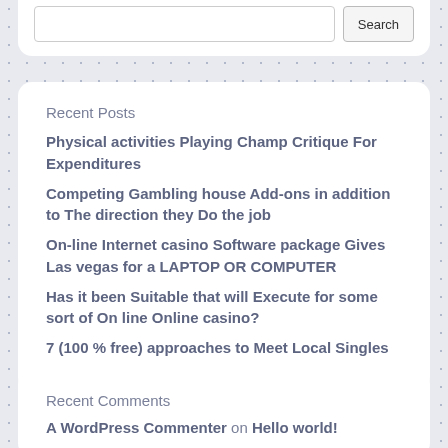Recent Posts
Physical activities Playing Champ Critique For Expenditures
Competing Gambling house Add-ons in addition to The direction they Do the job
On-line Internet casino Software package Gives Las vegas for a LAPTOP OR COMPUTER
Has it been Suitable that will Execute for some sort of On line Online casino?
7 (100 % free) approaches to Meet Local Singles
Recent Comments
A WordPress Commenter on Hello world!